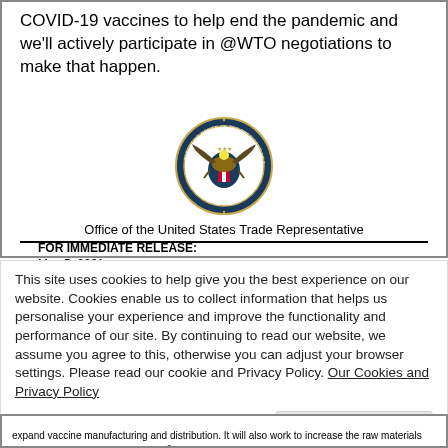COVID-19 vaccines to help end the pandemic and we'll actively participate in @WTO negotiations to make that happen.
[Figure (logo): Seal of the Executive Office of the President of the United States Trade Representative]
Office of the United States Trade Representative
FOR IMMEDIATE RELEASE:
May 5, 2021
CONTACT: media@ustr.eop.gov
This site uses cookies to help give you the best experience on our website. Cookies enable us to collect information that helps us personalise your experience and improve the functionality and performance of our site. By continuing to read our website, we assume you agree to this, otherwise you can adjust your browser settings. Please read our cookie and Privacy Policy. Our Cookies and Privacy Policy
Close and accept
expand vaccine manufacturing and distribution. It will also work to increase the raw materials needed to produce those vaccines.